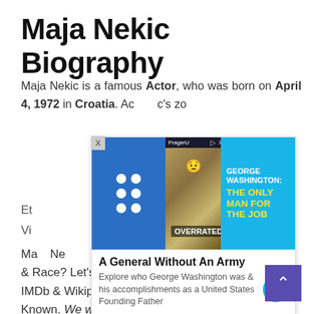Maja Nekic Biography
Maja Nekic is a famous Actor, who was born on April 4, 1972 in Croatia. Ac...c's zo...
[Figure (screenshot): Advertisement overlay: PragerU ad featuring George Washington image with text 'A General Without An Army', 'GEORGE WASHINGTON: THE ONLY MAN FOR THE JOB', 'OVERRATED?', and description 'Explore who George Washington was & his accomplishments as a United States Founding Father']
Et... Vi... Ma... Ne... ry & Race? Let's check it out! As per public resource, IMDb & Wikipedia, Maja Nekic's ethnicity is Not Known. We will update Maja Nekic's religion & political views ... this article. Please check the article again after few days.